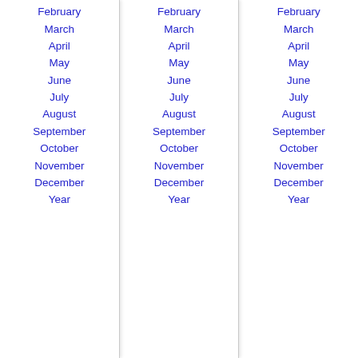February
March
April
May
June
July
August
September
October
November
December
Year
February
March
April
May
June
July
August
September
October
November
December
Year
February
March
April
May
June
July
August
September
October
November
December
Year